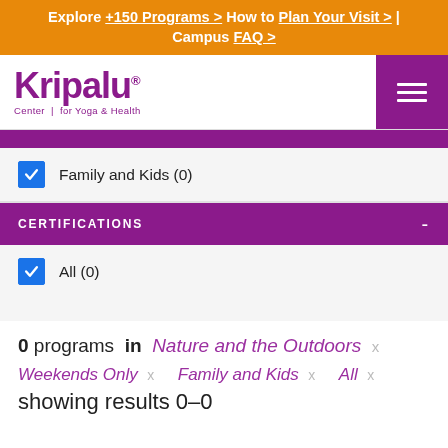Explore +150 Programs > How to Plan Your Visit > | Campus FAQ >
[Figure (logo): Kripalu Center for Yoga & Health logo in purple]
Family and Kids (0) [checkbox checked]
CERTIFICATIONS
All (0) [checkbox checked]
0 programs in Nature and the Outdoors x Weekends Only x Family and Kids x All x showing results 0–0